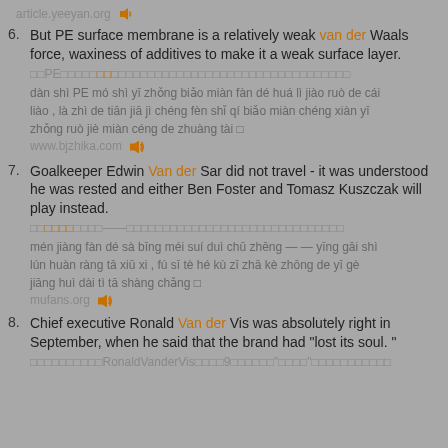article.yeeyan.org
But PE surface membrane is a relatively weak van der Waals force, waxiness of additives to make it a weak surface layer.
□□PE□□□□□□□□□□□□□□□□□□□□□□□□□□□□□□□□□□□□□□
dàn shì PE mó shì yī zhǒng biǎo miàn fàn dé huá lì jiào ruò de cái liào , là zhì de tiān jiā jì chéng fèn shǐ qí biǎo miàn chéng xiàn yī zhǒng ruò jiè miàn céng de zhuàng tài □
www.bjzhika.com
Goalkeeper Edwin Van der Sar did not travel - it was understood he was rested and either Ben Foster and Tomasz Kuszczak will play instead.
□□□□□□□□□□——□□□□□□□□□□□□□□□□□□□□□□□□□□□□□□
mén jiàng fàn dé sà bīng méi suí duì chū zhēng — — yīng gāi shì lún huàn ràng tā xiū xi , fú sī tè hé kù zī zhā kè zhōng de yī gè jiāng huì dài tì tā shàng chǎng □
mufans.org
Chief executive Ronald Van der Vis was absolutely right in September, when he said that the brand had "lost its soul. "
□□□□□□□□□□RonaldVanderVis□□□□9□□□□□□"□□□□"□□□□□□□□□□□